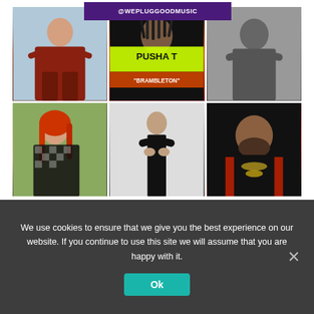[Figure (photo): Instagram-style music promotion grid with @WEPLUGGOODMUSIC header and 6 artist photos including Pusha T Brambleton promotional image]
We use cookies to ensure that we give you the best experience on our website. If you continue to use this site we will assume that you are happy with it.